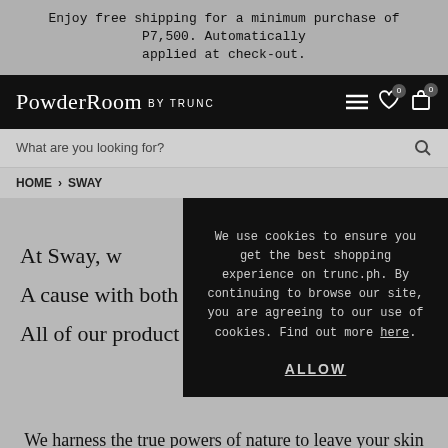Enjoy free shipping for a minimum purchase of P7,500. Automatically applied at check-out.
[Figure (screenshot): PowderRoom by TRUNC navigation bar with logo, hamburger menu, wishlist icon with badge 0, and cart icon with badge 0]
What are you looking for?
HOME > SWAY
We use cookies to ensure you get the best shopping experience on trunc.ph. By continuing to browse our site, you are agreeing to our use of cookies. Find out more here.
ALLOW
At Sway, w
A cause with both you
All of our product ran
free.
We harness the true powers of nature to leave your skin healthy, nourished and organically charged.